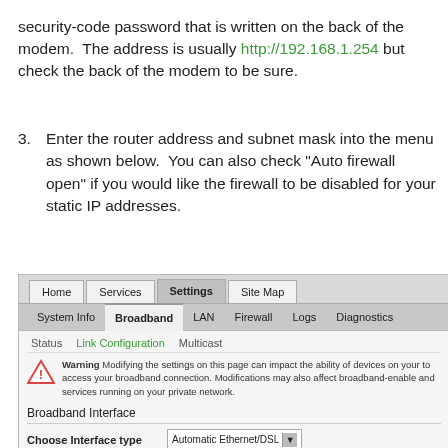security-code password that is written on the back of the modem.  The address is usually http://192.168.1.254 but check the back of the modem to be sure.
3. Enter the router address and subnet mask into the menu as shown below.  You can also check "Auto firewall open" if you would like the firewall to be disabled for your static IP addresses.
[Figure (screenshot): Router web interface screenshot showing tabs: Home, Services, Settings (active), Site Map. Sub-tabs: System Info, Broadband (active), LAN, Firewall, Logs, Diagnostics. Third-level tabs: Status, Link Configuration (active, green), Multicast. Warning icon with text about modifying settings. Broadband Interface section showing Choose Interface type dropdown set to Automatic Ethernet/DSL.]